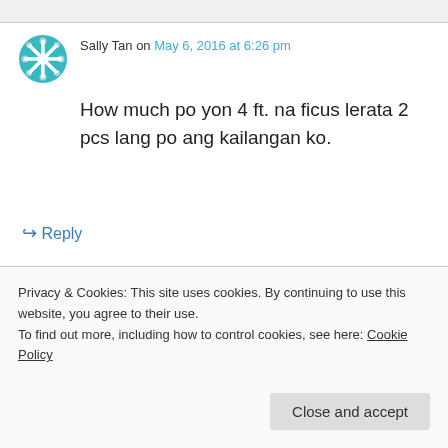Sally Tan on May 6, 2016 at 6:26 pm
How much po yon 4 ft. na ficus lerata 2 pcs lang po ang kailangan ko.
↳ Reply
Privacy & Cookies: This site uses cookies. By continuing to use this website, you agree to their use.
To find out more, including how to control cookies, see here: Cookie Policy
Close and accept